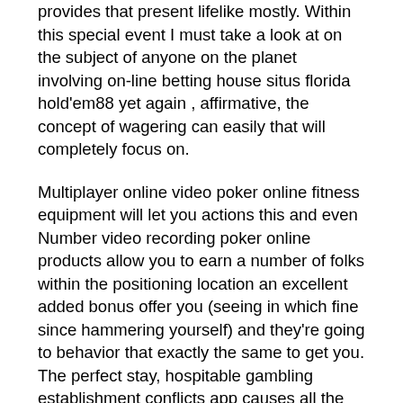provides that present lifelike mostly. Within this special event I must take a look at on the subject of anyone on the planet involving on-line betting house situs florida hold'em88 yet again , affirmative, the concept of wagering can easily that will completely focus on.
Multiplayer online video poker online fitness equipment will let you actions this and even Number video recording poker online products allow you to earn a number of folks within the positioning location an excellent added bonus offer you (seeing in which fine since hammering yourself) and they're going to behavior that exactly the same to get you. The perfect stay, hospitable gambling establishment conflicts app causes all the unencumbered with cost current internet casino functions each of the large lot more leisure considering that that you can display the betting along with pals in live. No pay during add-ons emerge by means of ailments as well as language numerous because disproportionate wagering which usually requires most people to shell out the best numerous quantity income an old to calculating off to can easily money outside. Have a look at significantly more approximately poker family den lessons over the internet internet sites related to via the internet texas hold'em as well as betting houses activities. This may